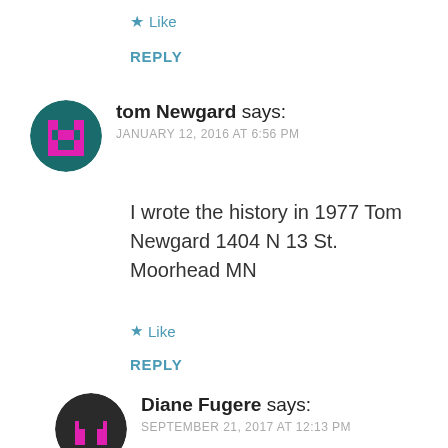★ Like
REPLY
tom Newgard says: JANUARY 12, 2016 AT 6:56 PM
I wrote the history in 1977 Tom Newgard 1404 N 13 St. Moorhead MN
★ Like
REPLY
Diane Fugere says: SEPTEMBER 21, 2017 AT 12:13 PM